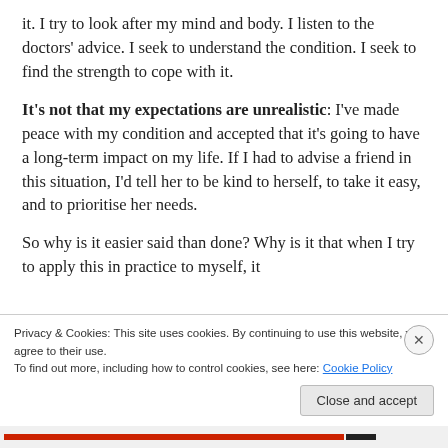it. I try to look after my mind and body. I listen to the doctors' advice. I seek to understand the condition. I seek to find the strength to cope with it.
It's not that my expectations are unrealistic: I've made peace with my condition and accepted that it's going to have a long-term impact on my life. If I had to advise a friend in this situation, I'd tell her to be kind to herself, to take it easy, and to prioritise her needs.
So why is it easier said than done? Why is it that when I try to apply this in practice to myself, it
Privacy & Cookies: This site uses cookies. By continuing to use this website, you agree to their use.
To find out more, including how to control cookies, see here: Cookie Policy
Close and accept